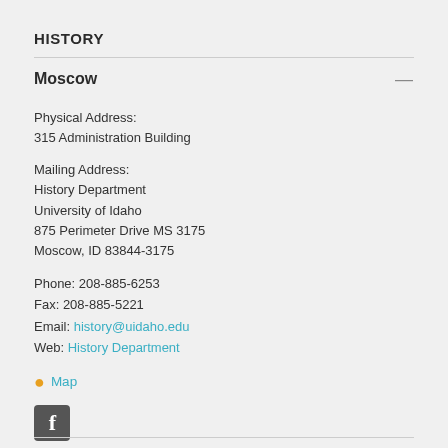HISTORY
Moscow
Physical Address:
315 Administration Building
Mailing Address:
History Department
University of Idaho
875 Perimeter Drive MS 3175
Moscow, ID 83844-3175
Phone: 208-885-6253
Fax: 208-885-5221
Email: history@uidaho.edu
Web: History Department
Map
[Figure (logo): Facebook logo icon, dark grey square with white letter f]